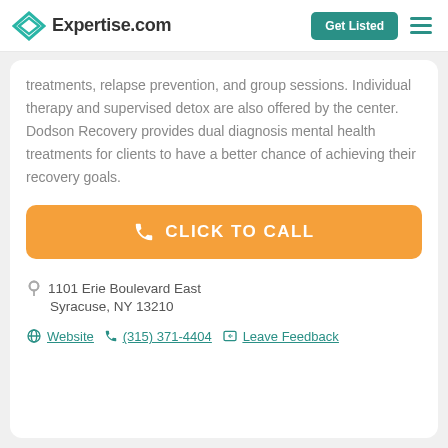Expertise.com
treatments, relapse prevention, and group sessions. Individual therapy and supervised detox are also offered by the center. Dodson Recovery provides dual diagnosis mental health treatments for clients to have a better chance of achieving their recovery goals.
[Figure (other): Orange 'CLICK TO CALL' button with phone icon]
1101 Erie Boulevard East
Syracuse, NY 13210
Website  (315) 371-4404  Leave Feedback